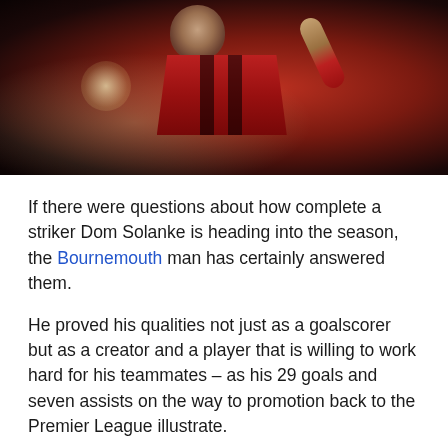[Figure (photo): A footballer in a red and black Bournemouth kit, arm raised, celebrating or shouting, photographed against a dark background]
If there were questions about how complete a striker Dom Solanke is heading into the season, the Bournemouth man has certainly answered them.
He proved his qualities not just as a goalscorer but as a creator and a player that is willing to work hard for his teammates – as his 29 goals and seven assists on the way to promotion back to the Premier League illustrate.
[Figure (photo): Two footballers in red jerseys, one wearing a blue armband, appearing to be in a physical challenge or header contest]